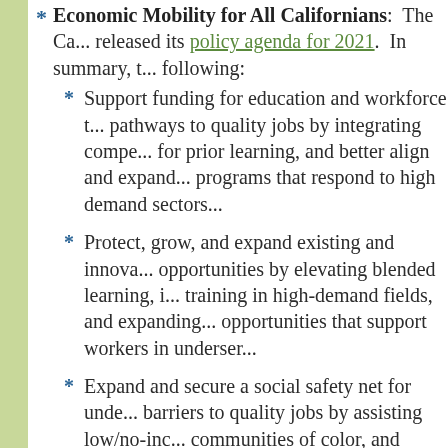Economic Mobility for All Californians: The Ca... released its policy agenda for 2021. In summary, t... following:
Support funding for education and workforce t... pathways to quality jobs by integrating compe... for prior learning, and better align and expand... programs that respond to high demand sectors...
Protect, grow, and expand existing and innova... opportunities by elevating blended learning, i... training in high-demand fields, and expanding... opportunities that support workers in underser...
Expand and secure a social safety net for unde... barriers to quality jobs by assisting low/no-inc... communities of color, and dislocated workers i... address basic needs such as food, housing, tra... healthcare.
Secure quality broadband access for all by sup... high-speed internet access, especially in under... to ensuring equitable learning and training can... distancing orders are in place and close the dig...